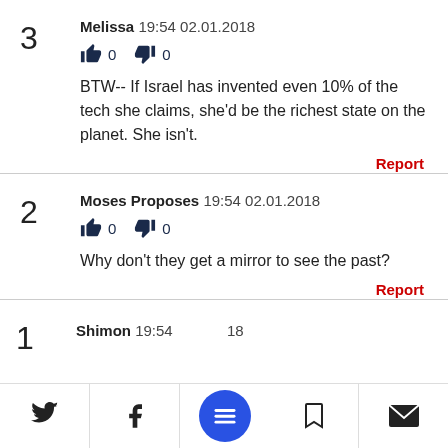3  Melissa 19:54 02.01.2018 — 👍 0  👎 0 — BTW-- If Israel has invented even 10% of the tech she claims, she'd be the richest state on the planet. She isn't. — Report
2  Moses Proposes 19:54 02.01.2018 — 👍 0  👎 0 — Why don't they get a mirror to see the past? — Report
1  Shimon 19:54 02.01.2018...